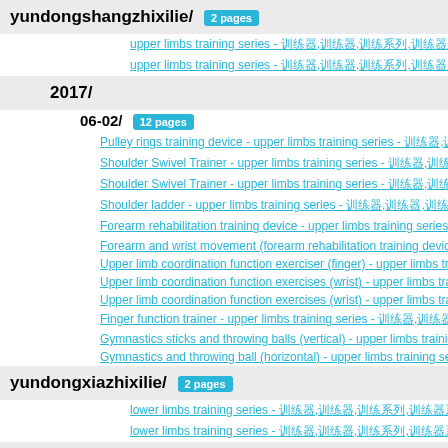yundongshangzhixilie/ 2 pages
upper limbs training series - 训练器,训练器,训练系列,训练器系列-上肢训练系列训练器
upper limbs training series - 训练器,训练器,训练系列,训练器系列-上肢训练系列训练器
2017/
06-02/ 12 pages
Pulley rings training device - upper limbs training series - 训练器,训练器,训练系列,...
Shoulder Swivel Trainer - upper limbs training series - 训练器,训练器,训练系列,...
Shoulder Swivel Trainer - upper limbs training series - 训练器,训练器,训练系列,...
Shoulder ladder - upper limbs training series - 训练器,训练器,训练系列,训练器系列-训练...
Forearm rehabilitation training device - upper limbs training series - 训练...
Forearm and wrist movement (forearm rehabilitation training device) - u...
Upper limb coordination function exerciser (finger) - upper limbs traini...
Upper limb coordination function exercises (wrist) - upper limbs trainin...
Upper limb coordination function exercises (wrist) - upper limbs trainin...
Finger function trainer - upper limbs training series - 训练器,训练器,训练系列,训练...
Gymnastics sticks and throwing balls (vertical) - upper limbs training se...
Gymnastics and throwing ball (horizontal) - upper limbs training series ...
yundongxiazhixilie/ 2 pages
lower limbs training series - 训练器,训练器,训练系列,训练器系列-下肢训练系列训练器
lower limbs training series - 训练器,训练器,训练系列,训练器系列-下肢训练系列训练器
2017/